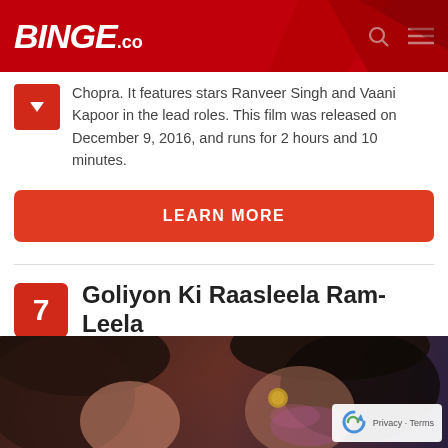BINGE.co
Chopra. It features stars Ranveer Singh and Vaani Kapoor in the lead roles. This film was released on December 9, 2016, and runs for 2 hours and 10 minutes.
LEARN MORE
7 Goliyon Ki Raasleela Ram-Leela
[Figure (photo): Close-up photo of two actors from Goliyon Ki Raasleela Ram-Leela, a woman and a man facing each other intimately]